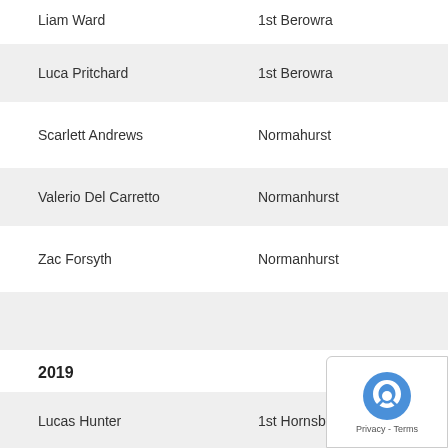Liam Ward | 1st Berowra
Luca Pritchard | 1st Berowra
Scarlett Andrews | Normahurst
Valerio Del Carretto | Normanhurst
Zac Forsyth | Normanhurst
2019
Lucas Hunter | 1st Hornsby Heights